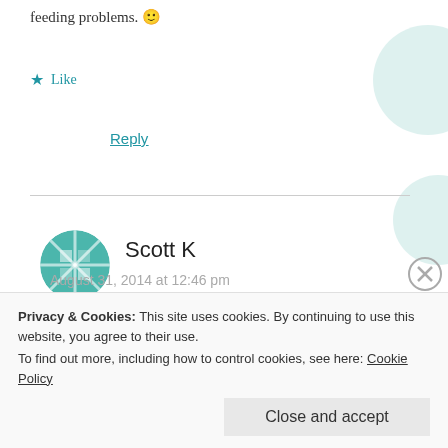feeding problems. 🙂
★ Like
Reply
[Figure (illustration): Circular avatar with teal geometric pattern for commenter Scott K]
Scott K
August 31, 2014 at 12:46 pm
Ha ha. Thanks. It would have looked very entertaining to anyone watching it!
★ Like
Privacy & Cookies: This site uses cookies. By continuing to use this website, you agree to their use.
To find out more, including how to control cookies, see here: Cookie Policy
Close and accept